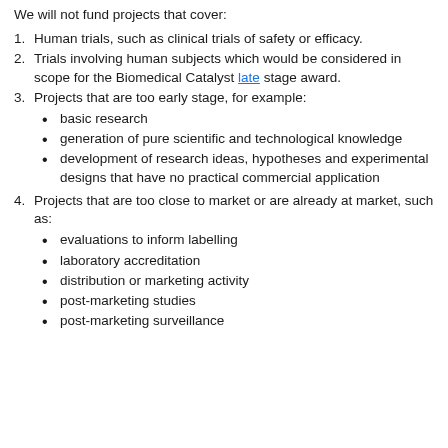We will not fund projects that cover:
1. Human trials, such as clinical trials of safety or efficacy.
2. Trials involving human subjects which would be considered in scope for the Biomedical Catalyst late stage award.
3. Projects that are too early stage, for example:
basic research
generation of pure scientific and technological knowledge
development of research ideas, hypotheses and experimental designs that have no practical commercial application
4. Projects that are too close to market or are already at market, such as:
evaluations to inform labelling
laboratory accreditation
distribution or marketing activity
post-marketing studies
post-marketing surveillance